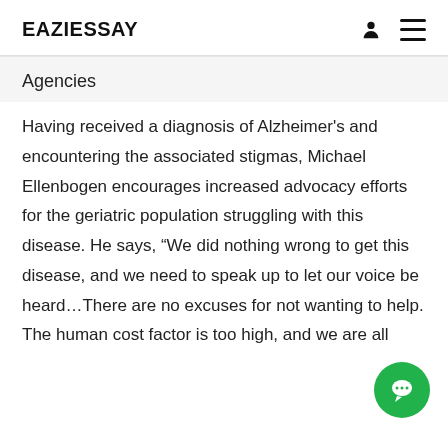EAZIESSAY
Agencies
Having received a diagnosis of Alzheimer's and encountering the associated stigmas, Michael Ellenbogen encourages increased advocacy efforts for the geriatric population struggling with this disease. He says, “We did nothing wrong to get this disease, and we need to speak up to let our voice be heard…There are no excuses for not wanting to help. The human cost factor is too high, and we are all